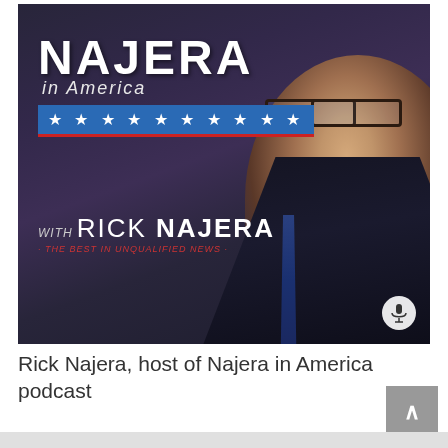[Figure (photo): Podcast cover art for 'Najera in America' featuring Rick Najera — a middle-aged man with glasses, goatee, wearing a dark suit and blue tie, smiling at camera. Text overlay shows 'NAJERA in America' with blue star bar, 'WITH RICK NAJERA', and tagline 'THE BEST IN UNQUALIFIED NEWS'. Microphone icon in bottom right.]
Rick Najera, host of Najera in America podcast